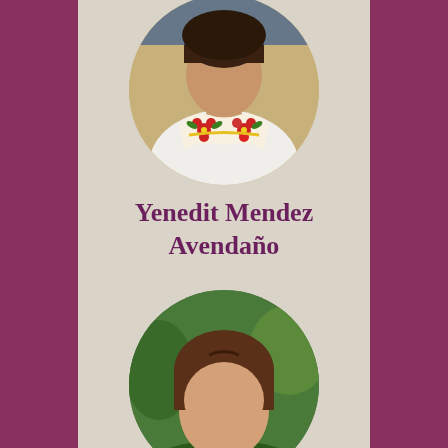[Figure (photo): Circular portrait photo of Yenedit Mendez Avendaño wearing a colorful embroidered blouse with red, yellow and green floral patterns on white fabric, set against a card with beige/tan background.]
Yenedit Mendez Avendaño
Research Specialist Yenedit Mendez from Ayoquezco de…
[Figure (photo): Circular portrait photo of a woman with brown hair, partially visible, with green foliage in the background, on a beige card at the bottom of the page.]